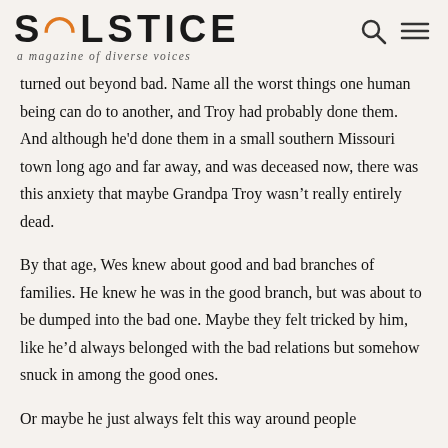SOLSTICE — a magazine of diverse voices
turned out beyond bad.  Name all the worst things one human being can do to another, and Troy had probably done them. And although he'd done them in a small southern Missouri town long ago and far away, and was deceased now, there was this anxiety that maybe Grandpa Troy wasn't really entirely dead.
By that age, Wes knew about good and bad branches of families.  He knew he was in the good branch, but was about to be dumped into the bad one.  Maybe they felt tricked by him, like he'd always belonged with the bad relations but somehow snuck in among the good ones.
Or maybe he just always felt this way around people